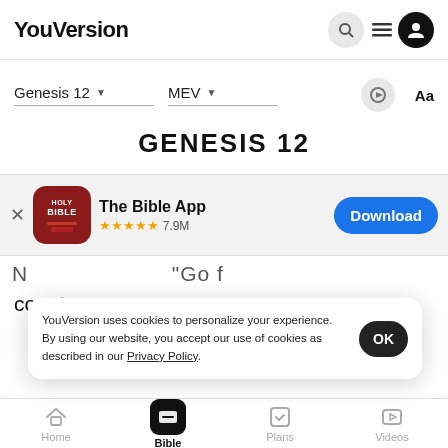YouVersion
Genesis 12  MEV
GENESIS 12
[Figure (screenshot): App download banner for The Bible App showing Holy Bible icon, 5-star rating with 7.9M reviews, and a Download button]
YouVersion uses cookies to personalize your experience. By using our website, you accept our use of cookies as described in our Privacy Policy.
country
land that I will show you
Home  Bible  Plans  Videos